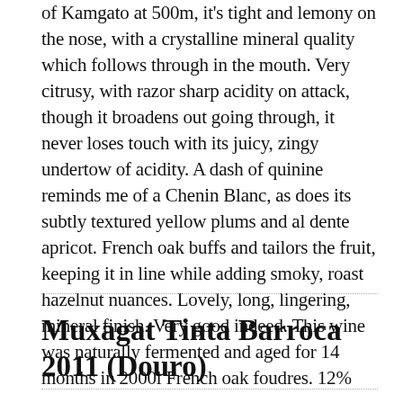of Kamgato at 500m, it's tight and lemony on the nose, with a crystalline mineral quality which follows through in the mouth.  Very citrusy, with razor sharp acidity on attack, though it broadens out going through, it never loses touch with its juicy, zingy undertow of acidity.  A dash of quinine reminds me of a Chenin Blanc, as does its subtly textured yellow plums and al dente apricot.  French oak buffs and tailors the fruit, keeping it in line while adding smoky, roast hazelnut nuances.  Lovely, long, lingering, mineral finish.  Very good indeed. This wine was naturally fermented and aged for 14 months in 2000l French oak foudres.  12%
Muxagat Tinta Barroca 2011  (Douro)